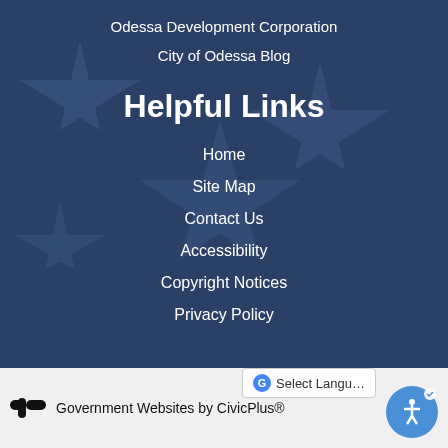Odessa Development Corporation
City of Odessa Blog
Helpful Links
Home
Site Map
Contact Us
Accessibility
Copyright Notices
Privacy Policy
Government Websites by CivicPlus®